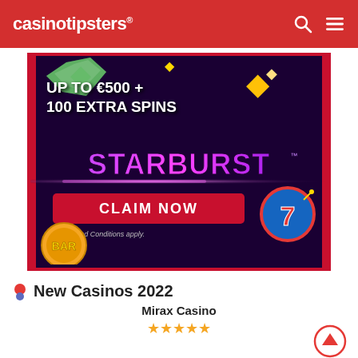casinotipsters®
[Figure (illustration): Casino bonus advertisement banner: dark purple background with gems, text 'UP TO €500 + 100 EXTRA SPINS', Starburst logo, red 'CLAIM NOW' button, BAR chip and Lucky 7 slot symbols, red border stripes]
New Casinos 2022
Mirax Casino